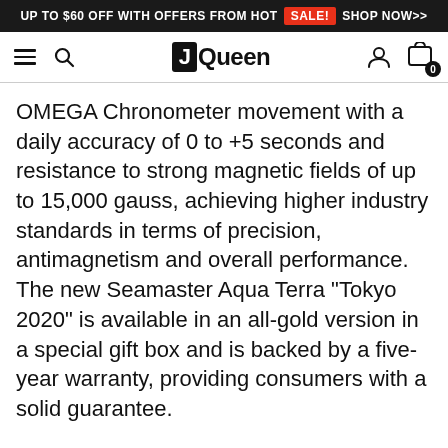UP TO $60 OFF WITH OFFERS FROM HOT SALE! SHOP NOW>>
[Figure (screenshot): JQueen e-commerce website navigation bar with hamburger menu, search icon, JQueen logo, user account icon, and shopping cart icon showing 0 items]
OMEGA Chronometer movement with a daily accuracy of 0 to +5 seconds and resistance to strong magnetic fields of up to 15,000 gauss, achieving higher industry standards in terms of precision, antimagnetism and overall performance. The new Seamaster Aqua Terra "Tokyo 2020" is available in an all-gold version in a special gift box and is backed by a five-year warranty, providing consumers with a solid guarantee.

Michael Phelps is by far the most